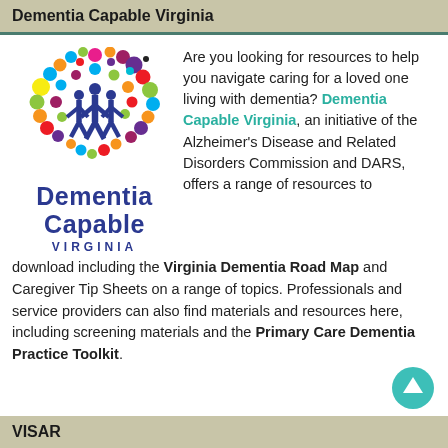Dementia Capable Virginia
[Figure (logo): Dementia Capable Virginia logo with colorful circles forming brain shape and blue figures in center, with text 'Dementia Capable VIRGINIA']
Are you looking for resources to help you navigate caring for a loved one living with dementia? Dementia Capable Virginia, an initiative of the Alzheimer's Disease and Related Disorders Commission and DARS, offers a range of resources to download including the Virginia Dementia Road Map and Caregiver Tip Sheets on a range of topics. Professionals and service providers can also find materials and resources here, including screening materials and the Primary Care Dementia Practice Toolkit.
VISAR